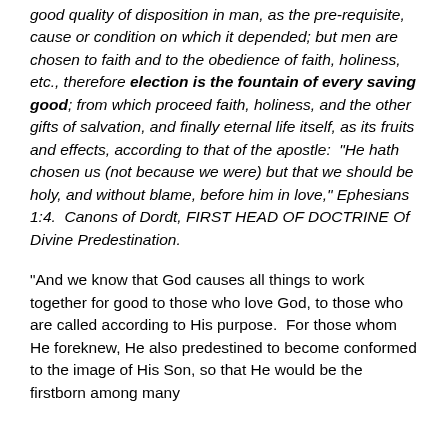good quality of disposition in man, as the pre-requisite, cause or condition on which it depended; but men are chosen to faith and to the obedience of faith, holiness, etc., therefore election is the fountain of every saving good;  from which proceed faith, holiness, and the other gifts of salvation, and finally eternal life itself, as its fruits and effects, according to that of the apostle:  "He hath chosen us (not because we were) but that we should be holy, and without blame, before him in love," Ephesians 1:4.  Canons of Dordt, FIRST HEAD OF DOCTRINE Of Divine Predestination.
"And we know that God causes all things to work together for good to those who love God, to those who are called according to His purpose.  For those whom He foreknew, He also predestined to become conformed to the image of His Son, so that He would be the firstborn among many